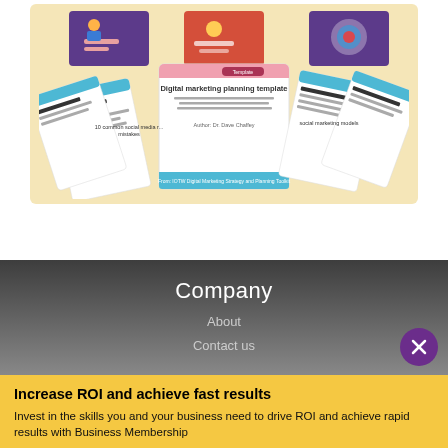[Figure (illustration): A set of digital marketing resource cards/templates displayed in a fan arrangement on a yellow/beige background. The center card reads 'Digital marketing planning template'. Other cards show titles like '10 common social media mistakes' and 'social marketing models'. Decorative illustrations appear at the top (people figures, target/bullseye).]
Company
About
Contact us
Increase ROI and achieve fast results
Invest in the skills you and your business need to drive ROI and achieve rapid results with Business Membership